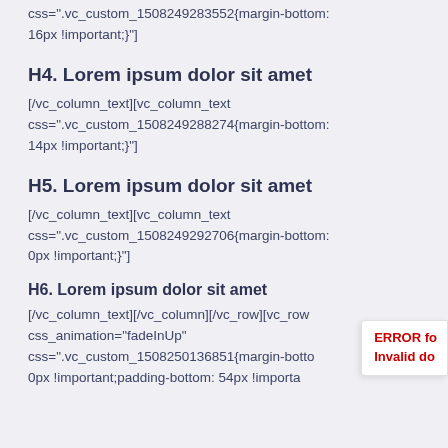css=".vc_custom_1508249283552{margin-bottom: 16px !important;}"]
H4. Lorem ipsum dolor sit amet
[/vc_column_text][vc_column_text css=".vc_custom_1508249288274{margin-bottom: 14px !important;}"]
H5. Lorem ipsum dolor sit amet
[/vc_column_text][vc_column_text css=".vc_custom_1508249292706{margin-bottom: 0px !important;}"]
H6. Lorem ipsum dolor sit amet
[/vc_column_text][/vc_column][/vc_row][vc_row css_animation="fadeInUp" css=".vc_custom_1508250136851{margin-bottom: 0px !important;padding-bottom: 54px !importa